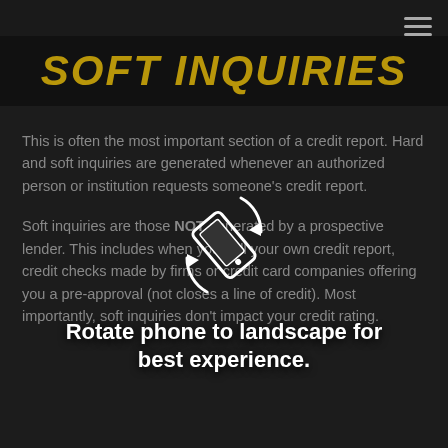Soft Inquiries
This is often the most important section of a credit report. Hard and soft inquiries are generated whenever an authorized person or institution requests someone's credit report.
Soft inquiries are those NOT generated by a prospective lender. This includes when you pull your own credit report, credit checks made by firms or credit card companies offering you a pre-approval (not closes a line of credit). Most importantly, soft inquiries don't impact your credit rating.
[Figure (illustration): Rotate phone icon with circular arrows indicating landscape rotation prompt]
Rotate phone to landscape for best experience.